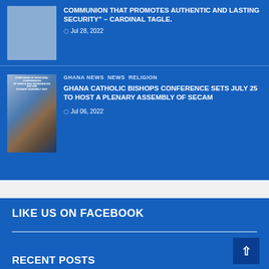COMMUNION THAT PROMOTES AUTHENTIC AND LASTING SECURITY" – CARDINAL TAGLE.
Jul 28, 2022
[Figure (photo): Thumbnail image for article about Cardinal Tagle]
GHANA NEWS  NEWS  RELIGION
GHANA CATHOLIC BISHOPS CONFERENCE SETS JULY 25 TO HOST A PLENARY ASSEMBLY OF SECAM
Jul 06, 2022
[Figure (photo): Image showing text about Symposium of Episcopal Conferences of Africa and Madagascar SECAM Plenary Assembly 2022]
LIKE US ON FACEBOOK
RECENT POSTS